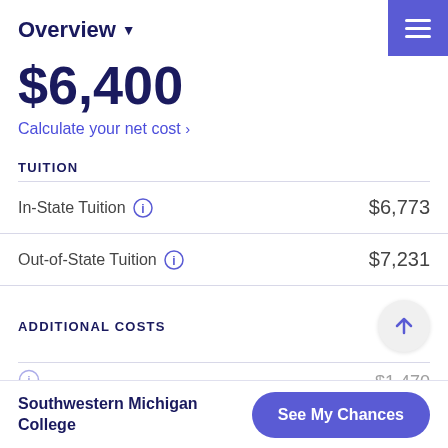Overview
$6,400
Calculate your net cost ›
TUITION
|  |  |
| --- | --- |
| In-State Tuition | $6,773 |
| Out-of-State Tuition | $7,231 |
ADDITIONAL COSTS
Southwestern Michigan College | See My Chances